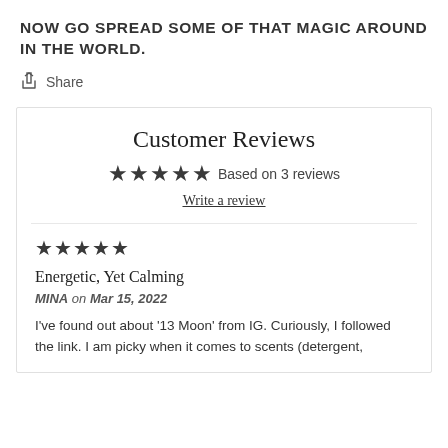NOW GO SPREAD SOME OF THAT MAGIC AROUND IN THE WORLD.
Share
Customer Reviews
★★★★★ Based on 3 reviews
Write a review
★★★★★
Energetic, Yet Calming
MINA on Mar 15, 2022
I've found out about '13 Moon' from IG. Curiously, I followed the link. I am picky when it comes to scents (detergent,